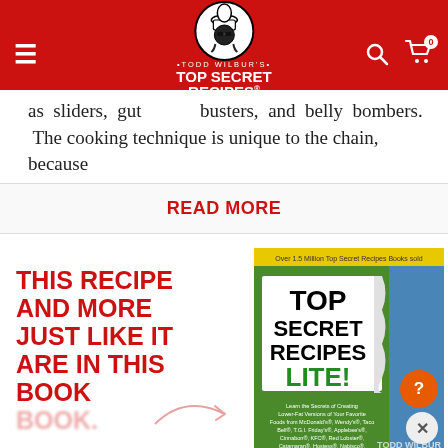Todd Wilbur's Top Secret Recipes
as sliders, gut busters, and belly bombers. The cooking technique is unique to the chain, because
READ MORE
THIS RECIPE AND MORE JUST LIKE IT ARE IN THIS BOOK
[Figure (photo): Book cover of Top Secret Recipes Lite! by Todd Wilbur. Green cover with torn paper effect showing 'TOP SECRET RECIPES LITE!' title. Subtitle text about learning secrets of creating lower-fat versions of favorite foods from McDonald's, Wendy's, Taco Bell, T.G.I. Friday's, Applebee's, Cinnabon, KFC, Red Lobster, Catamaran, Hostess, Nabisco, Kraft, Denny's, Burger King.]